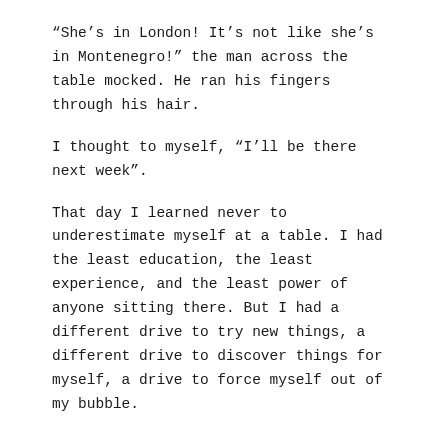“She’s in London! It’s not like she’s in Montenegro!” the man across the table mocked. He ran his fingers through his hair.
I thought to myself, “I’ll be there next week”.
That day I learned never to underestimate myself at a table. I had the least education, the least experience, and the least power of anyone sitting there. But I had a different drive to try new things, a different drive to discover things for myself, a drive to force myself out of my bubble.
Yeah . . “It’s not like she’s in Montenegro!” I giggled in awe of the Adriatic Sea.